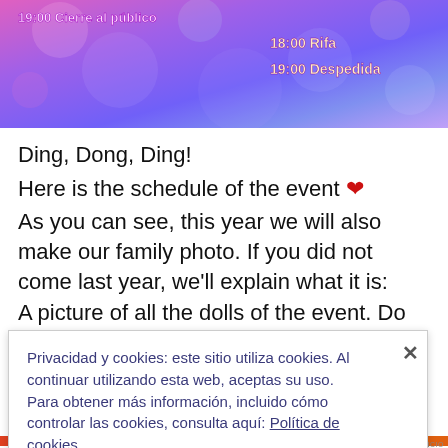[Figure (illustration): Colorful purple/pink/blue bokeh banner image with event schedule text in Spanish: '19:00 Cierre al público' on the left, and '18:00 Rifa / 19:00 Despedida' on the right, in white/yellow stylized font.]
Ding, Dong, Ding!
Here is the schedule of the event ❤
As you can see, this year we will also make our family photo. If you did not come last year, we'll explain what it is:
A picture of all the dolls of the event. Do you want to
Privacidad y cookies: este sitio utiliza cookies. Al continuar utilizando esta web, aceptas su uso.
Para obtener más información, incluido cómo controlar las cookies, consulta aquí: Política de cookies